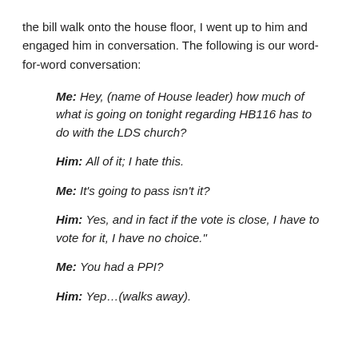the bill walk onto the house floor, I went up to him and engaged him in conversation. The following is our word-for-word conversation:
Me: Hey, (name of House leader) how much of what is going on tonight regarding HB116 has to do with the LDS church?
Him: All of it; I hate this.
Me: It's going to pass isn't it?
Him: Yes, and in fact if the vote is close, I have to vote for it, I have no choice."
Me: You had a PPI?
Him: Yep…(walks away).